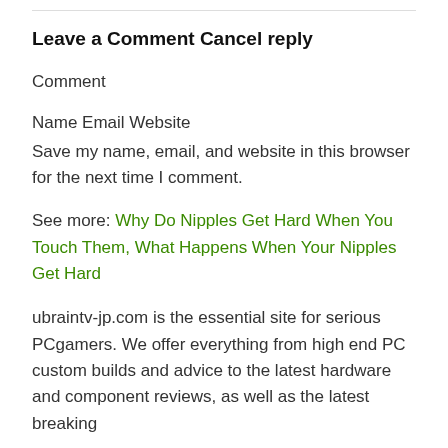Leave a Comment Cancel reply
Comment
Name Email Website
Save my name, email, and website in this browser for the next time I comment.
See more: Why Do Nipples Get Hard When You Touch Them, What Happens When Your Nipples Get Hard
ubraintv-jp.com is the essential site for serious PCgamers. We offer everything from high end PC custom builds and advice to the latest hardware and component reviews, as well as the latest breaking